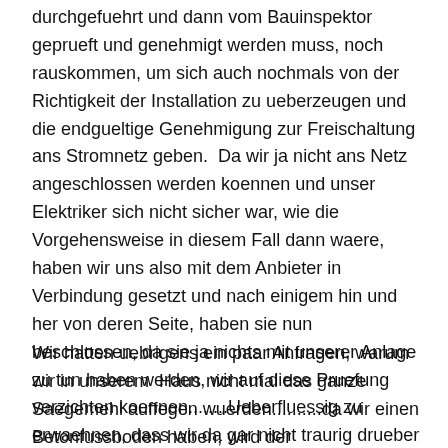durchgefuehrt und dann vom Bauinspektor geprueft und genehmigt werden muss, noch rauskommen, um sich auch nochmals von der Richtigkeit der Installation zu ueberzeugen und die endgueltige Genehmigung zur Freischaltung ans Stromnetz geben.  Da wir ja nicht ans Netz angeschlossen werden koennen und unser Elektriker sich nicht sicher war, wie die Vorgehensweise in diesem Fall dann waere, haben wir uns also mit dem Anbieter in Verbindung gesetzt und nach einigem hin und her von deren Seite, haben sie nun beschlossen, da sie ja nichts mit unserer Anlage zu tun haben werden, wir auf diese Pruefung verzichten koennen........Ueberfluessig zu erwaehnen, dass wir da gar nicht traurig drueber sind 😉
Wir hatten uebrigens ein paar Anfragen, warum wir in unserem  Haus nicht mal das ganze Saegemehl auffegen wuerden..........da wir einen Betonfussboden haben, wird der